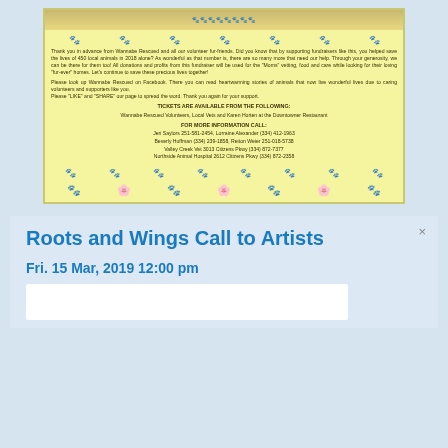[Figure (photo): Yellow flyer with paw print border for Wannabe Rescued animal rescue fundraiser. Contains thank you text, ticket availability info, and contact numbers.]
Roots and Wings Call to Artists
Fri. 15 Mar, 2019 12:00 pm